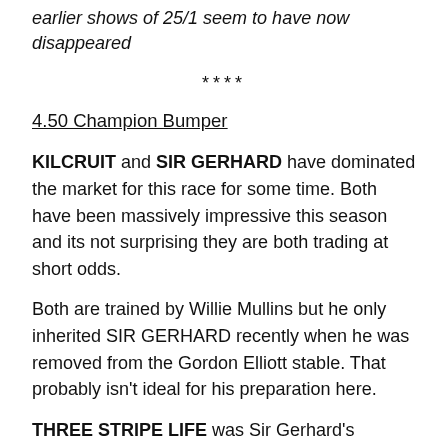earlier shows of 25/1 seem to have now disappeared
****
4.50 Champion Bumper
KILCRUIT and SIR GERHARD have dominated the market for this race for some time. Both have been massively impressive this season and its not surprising they are both trading at short odds.
Both are trained by Willie Mullins but he only inherited SIR GERHARD recently when he was removed from the Gordon Elliott stable. That probably isn't ideal for his preparation here.
THREE STRIPE LIFE was Sir Gerhard's stablemate but he didn't have to move yards. You couldn't knock the way he was on his only start and I don't get the impression he was a